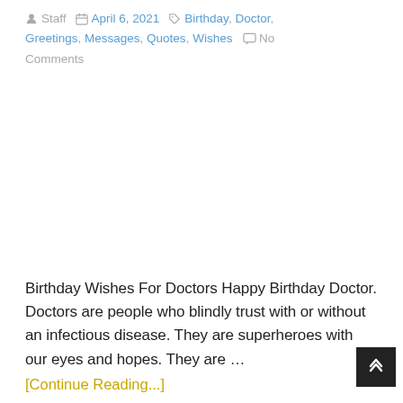Staff  April 6, 2021  Birthday, Doctor, Greetings, Messages, Quotes, Wishes  No Comments
[Figure (other): Advertisement or image placeholder (blank white area)]
Birthday Wishes For Doctors Happy Birthday Doctor. Doctors are people who blindly trust with or without an infectious disease. They are superheroes with our eyes and hopes. They are …
[Continue Reading...]